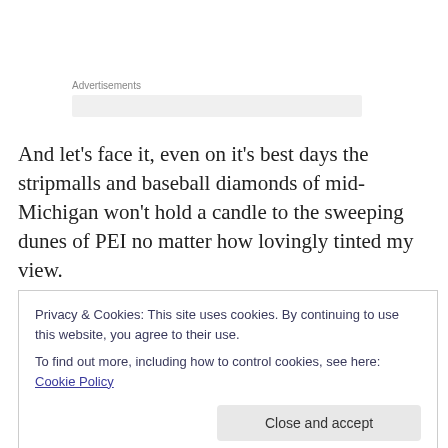Advertisements
And let's face it, even on it's best days the stripmalls and baseball diamonds of mid-Michigan won't hold a candle to the sweeping dunes of PEI no matter how lovingly tinted my view.
[Though, in all honesty, and with only a tiny bit of bias, western Michigan's spectacular wilderness is hellishly
Privacy & Cookies: This site uses cookies. By continuing to use this website, you agree to their use.
To find out more, including how to control cookies, see here: Cookie Policy
Close and accept
styles, beyond love stories and happy endings, there is